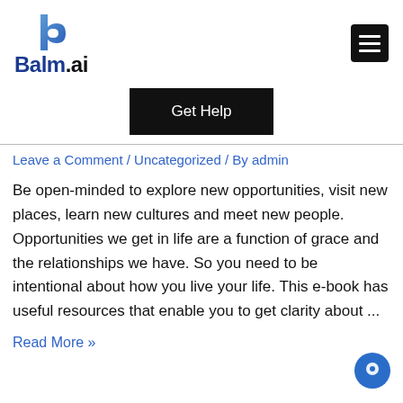Balm.ai
[Figure (logo): Balm.ai logo with blue stylized 'b' icon and bold text 'Balm.ai']
Get Help
Leave a Comment / Uncategorized / By admin
Be open-minded to explore new opportunities, visit new places, learn new cultures and meet new people. Opportunities we get in life are a function of grace and the relationships we have. So you need to be intentional about how you live your life. This e-book has useful resources that enable you to get clarity about ...
Read More »